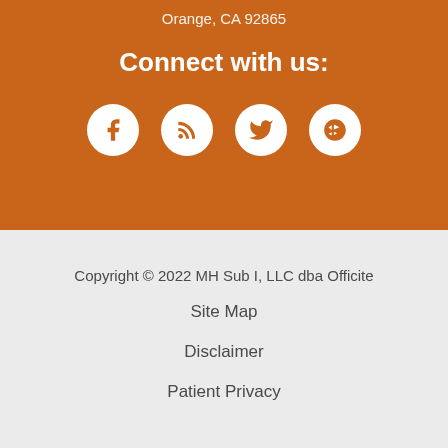Orange, CA 92865
Connect with us:
[Figure (illustration): Four social media icons in white circles on orange background: Facebook, RSS, Twitter, Yelp]
Copyright © 2022 MH Sub I, LLC dba Officite
Site Map
Disclaimer
Patient Privacy